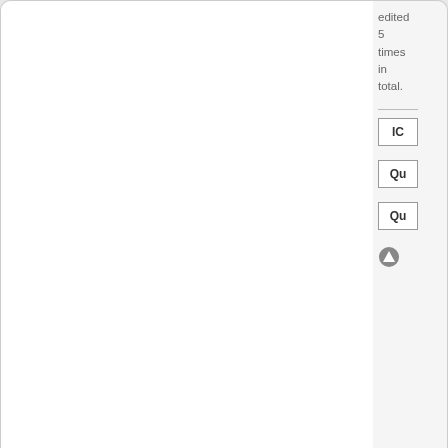edited 5 times in total.
[Figure (screenshot): IC icon button]
[Figure (screenshot): Qu icon button (partially visible)]
[Figure (screenshot): Qu icon button (partially visible)]
[Figure (screenshot): The United Penguin Commonwealth flag image]
QUOTE
by The United Penguin Commonwealth »
Sun Feb 27, 2022 1:32 pm
The United Penguin Commonwealth
Minister
Posts: 2257
Founded: Feb 01, 2022
Democratic Socialists